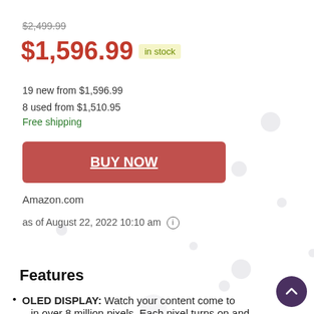$2,499.99 (strikethrough)
$1,596.99  in stock
19 new from $1,596.99
8 used from $1,510.95
Free shipping
BUY NOW
Amazon.com
as of August 22, 2022 10:10 am
Features
OLED DISPLAY: Watch your content come to life in over 8 million pixels. Each pixel turns on and